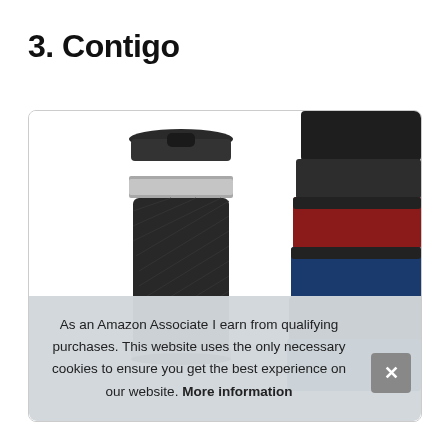3. Contigo
[Figure (photo): Photo of Contigo travel mugs. On the left, a single black travel mug with a carbon fiber grip and silver band. On the right, a stacked set of mugs in dark colors including red and blue.]
As an Amazon Associate I earn from qualifying purchases. This website uses the only necessary cookies to ensure you get the best experience on our website. More information